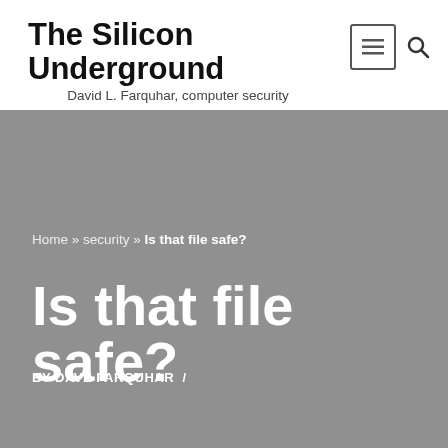The Silicon Underground
David L. Farquhar, computer security professional, train hobbyist, and landlord
Home » security » Is that file safe?
Is that file safe?
BY DAVE FARQUHAR  /